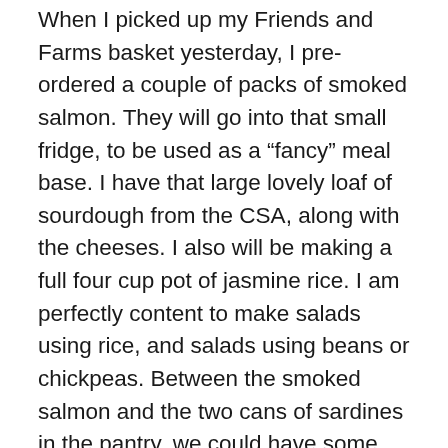When I picked up my Friends and Farms basket yesterday, I pre-ordered a couple of packs of smoked salmon. They will go into that small fridge, to be used as a “fancy” meal base. I have that large lovely loaf of sourdough from the CSA, along with the cheeses. I also will be making a full four cup pot of jasmine rice. I am perfectly content to make salads using rice, and salads using beans or chickpeas. Between the smoked salmon and the two cans of sardines in the pantry, we could have some awesome candlelight dinners. Unfortunately, the cold could become an issue at some point, and our wood stove is in our basement.
I have cranked the heat up in our house today. Up to 74 degrees. If we lose power, we never open the west facing doors, using the smallest east facing opening, our mud room back door, to minimize heat loss in the rest of the